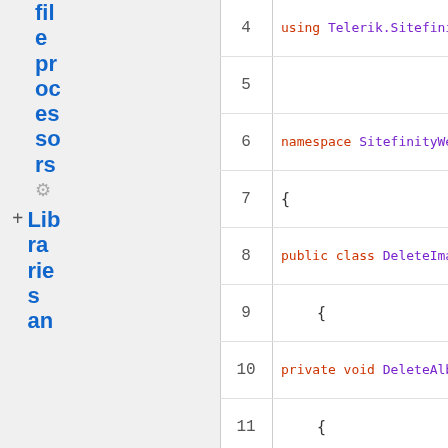[Figure (screenshot): Code editor screenshot showing C# code with line numbers 4-14. Left sidebar shows file navigation with 'fileprocessors' link and 'Libraries and' link. Code content shows using Telerik.Sitefinity.Modul, namespace SitefinityWebApp, public class DeleteImageLi, private void DeleteAlb, LibrariesManager m, Album album = mana]
We use cookies to personalize content and ads, to provide social media features and to analyze our traffic. Some of these cookies also help improve your user experience on our websites, assist with navigation and your ability to provide feedback, and assist with our promotional and marketing efforts. Please read our Cookie Policy for a more detailed description and click on the settings button to customize how the site uses cookies for you.
ACCEPT COOKIES
COOKIES SETTINGS